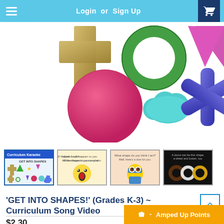Login  or  Sign Up
[Figure (illustration): Large colorful geometric shapes on white background: gold cross/plus, green ring/circle, magenta/pink downward triangle, pink filled circle, teal cloud shape, blue-purple asterisk/snowflake star. Educational shapes illustration.]
[Figure (screenshot): Thumbnail strip showing four video thumbnails: 1) Curriculum Karaoke 'Get Into Shapes' main cover with colorful shapes, 2) Pale yellow background with shocked emoji face and text, 3) Peach background with character wearing glasses, 4) Dark background showing donut/circle shapes.]
'GET INTO SHAPES!' (Grades K-3) ~ Curriculum Song Video
$2.30
Amped Up Points